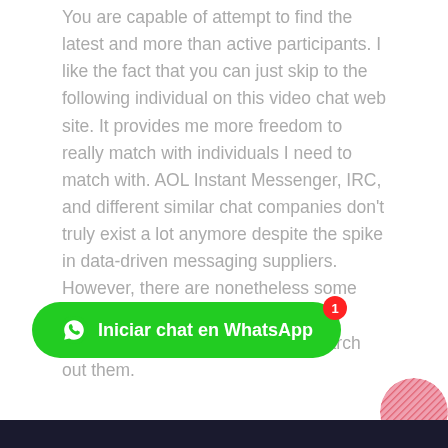You are capable of attempt to find the latest and more than active participants. I like the fact that you can just skip to the following individual on this video chat web site. It provides me more freedom to really match with individuals I need to match with. AOL Instant Messenger, IRC, and different similar chat companies don't truly exist a lot anymore despite the spike in data-driven messaging suppliers. However, there are nonetheless some great chat room experiences on the market if you know the place to search out them.
[Figure (other): Green WhatsApp chat button with WhatsApp icon and label 'Iniciar chat en WhatsApp', with a red badge showing '1']